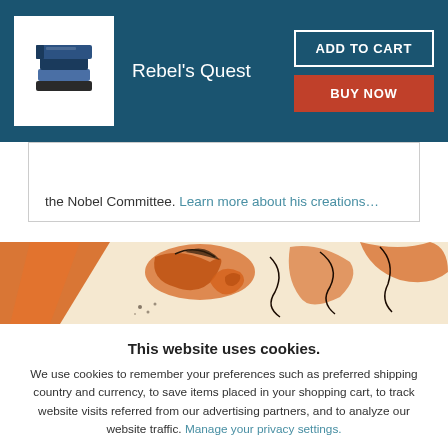Rebel's Quest — ADD TO CART | BUY NOW
the Nobel Committee. Learn more about his creations…
[Figure (illustration): Decorative book cover illustration with orange and white abstract figures on a cream background]
This website uses cookies.
We use cookies to remember your preferences such as preferred shipping country and currency, to save items placed in your shopping cart, to track website visits referred from our advertising partners, and to analyze our website traffic. Manage your privacy settings.
AGREE AND CLOSE